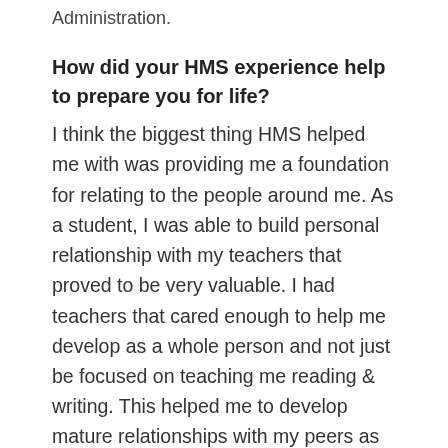Administration.
How did your HMS experience help to prepare you for life?
I think the biggest thing HMS helped me with was providing me a foundation for relating to the people around me. As a student, I was able to build personal relationship with my teachers that proved to be very valuable. I had teachers that cared enough to help me develop as a whole person and not just be focused on teaching me reading & writing. This helped me to develop mature relationships with my peers as well as peple who are older than me. With...